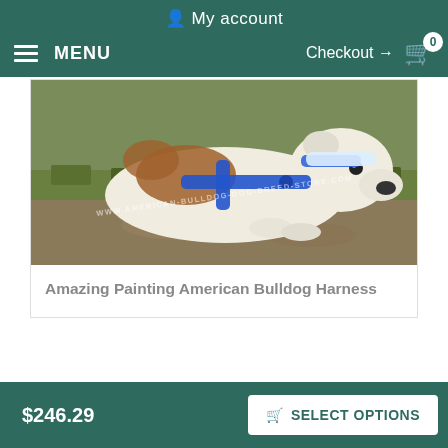My account
MENU   Checkout → 0
[Figure (photo): A white and brown American Bulldog lying on grass wearing a blue harness. Watermark text: WWW.AMERICAN-BULLDOG-DOG-BREED-STORE.COM]
Amazing Painting American Bulldog Harness
$246.29
SELECT OPTIONS